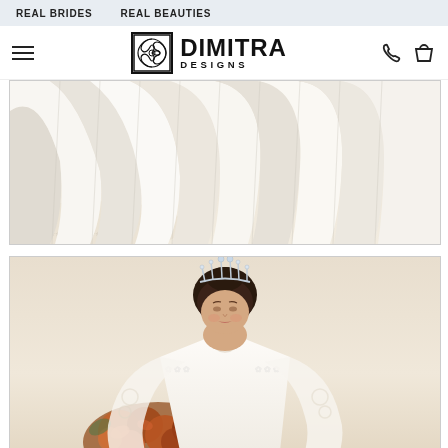REAL BRIDES   REAL BEAUTIES
[Figure (logo): Dimitra Designs logo with ornamental square icon and brand name]
[Figure (photo): Close-up of a white bridal gown skirt with flowing fabric pleats and lace edge detail]
[Figure (photo): Bride wearing a crystal crown and floral lace long-sleeve wedding gown holding a bouquet of rust-colored flowers against a beige background]